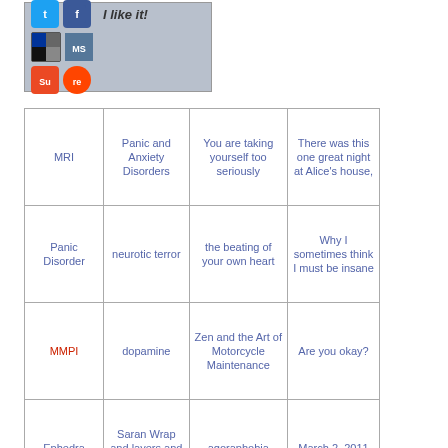[Figure (infographic): Social sharing widget with Twitter, Facebook, Digg, MySpace, StumbleUpon, Reddit icons and 'I like it!' text on a blue-grey background]
| MRI | Panic and Anxiety Disorders | You are taking yourself too seriously | There was this one great night at Alice's house, |
| Panic Disorder | neurotic terror | the beating of your own heart | Why I sometimes think I must be insane |
| MMPI | dopamine | Zen and the Art of Motorcycle Maintenance | Are you okay? |
| Ephedra | Saran Wrap and layers and haze | agoraphobia | March 2, 2011 |
|  |  |  |  |